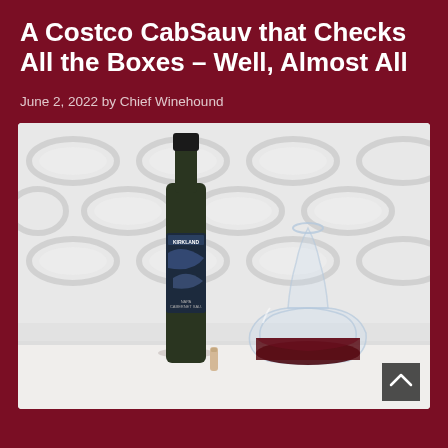A Costco CabSauv that Checks All the Boxes – Well, Almost All
June 2, 2022 by Chief Winehound
[Figure (photo): Photo of a Kirkland Signature Cabernet Sauvignon wine bottle next to a glass decanter containing red wine, set against a white textured tile wall background. A cork is visible on the counter in front of the bottle.]